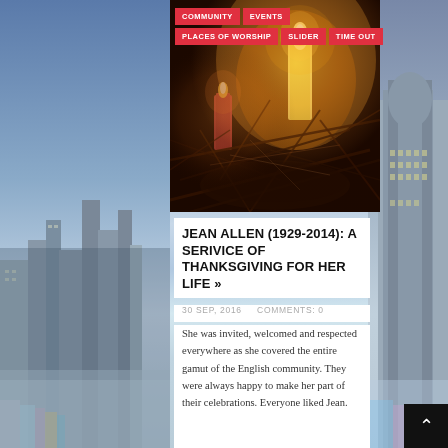COMMUNITY | EVENTS | PLACES OF WORSHIP | SLIDER | TIME OUT
[Figure (photo): Dark atmospheric photo of candles and dried branches/twigs with warm orange glow]
JEAN ALLEN (1929-2014): A SERIVICE OF THANKSGIVING FOR HER LIFE »
30 SEP, 2016    COMMENTS: 0
She was invited, welcomed and respected everywhere as she covered the entire gamut of the English community. They were always happy to make her part of their celebrations. Everyone liked Jean.